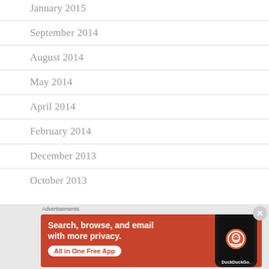January 2015
September 2014
August 2014
May 2014
April 2014
February 2014
December 2013
October 2013
[Figure (infographic): DuckDuckGo advertisement banner with orange background. Text reads: Search, browse, and email with more privacy. All in One Free App. Shows a phone with DuckDuckGo logo.]